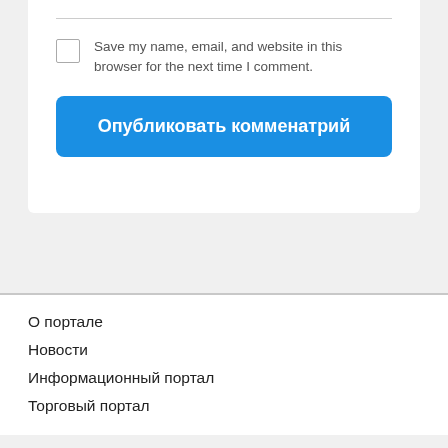Save my name, email, and website in this browser for the next time I comment.
Опубликовать комменатрий
О портале
Новости
Информационный портал
Торговый портал